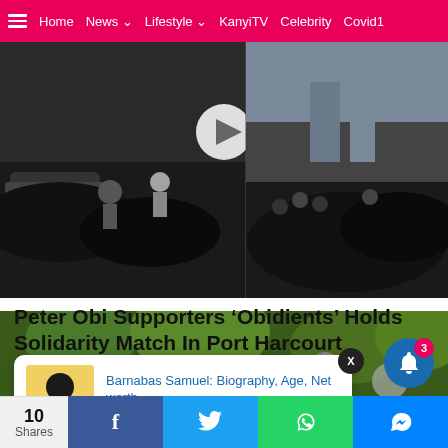Home | News | Lifestyle | KanyiTV | Celebrity | Covid1
[Figure (photo): Crowd of people gathered for solidarity march in Port Harcourt, split-panel image showing two crowd scenes]
Peter Obi Supporters ‘Obidients’ Holds Solidarity Match In Port Harcourt [Photos/Video]
by Tobias Sylvester
a day ago
[Figure (photo): People gathered outdoors with trees in background]
Barnabas Samuel: Biography, Age, Net worth, 48 minutes ago
10 Shares | Facebook | Twitter | WhatsApp | Messenger